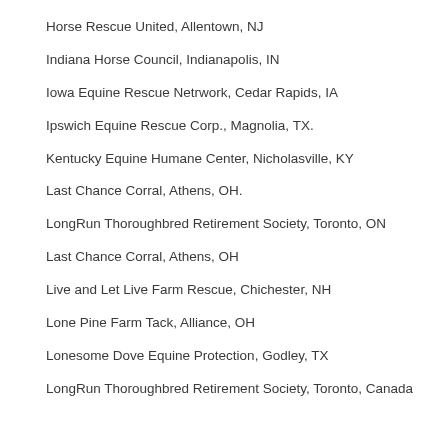Horse Rescue United, Allentown, NJ
Indiana Horse Council, Indianapolis, IN
Iowa Equine Rescue Netrwork, Cedar Rapids, IA
Ipswich Equine Rescue Corp., Magnolia, TX.
Kentucky Equine Humane Center, Nicholasville, KY
Last Chance Corral, Athens, OH.
LongRun Thoroughbred Retirement Society, Toronto, ON
Last Chance Corral, Athens, OH
Live and Let Live Farm Rescue, Chichester, NH
Lone Pine Farm Tack, Alliance, OH
Lonesome Dove Equine Protection, Godley, TX
LongRun Thoroughbred Retirement Society, Toronto, Canada